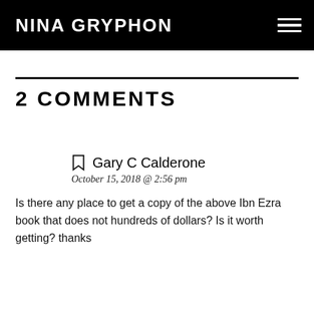NINA GRYPHON
2 COMMENTS
Gary C Calderone
October 15, 2018 @ 2:56 pm
Is there any place to get a copy of the above Ibn Ezra book that does not hundreds of dollars? Is it worth getting? thanks